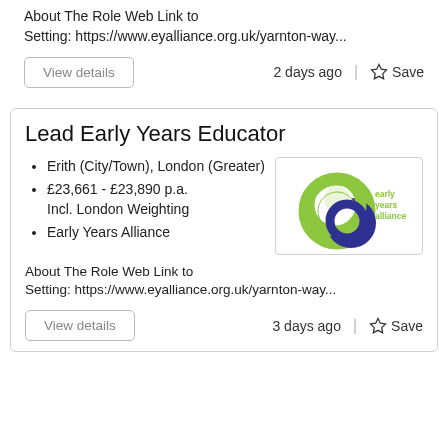About The Role Web Link to Setting: https://www.eyalliance.org.uk/yarnton-way...
View details  2 days ago  Save
Lead Early Years Educator
Erith (City/Town), London (Greater)
£23,661 - £23,890 p.a. Incl. London Weighting
Early Years Alliance
[Figure (logo): Early Years Alliance logo — stylized figure-8 in green and blue with 'early years alliance' text]
About The Role Web Link to Setting: https://www.eyalliance.org.uk/yarnton-way...
View details  3 days ago  Save